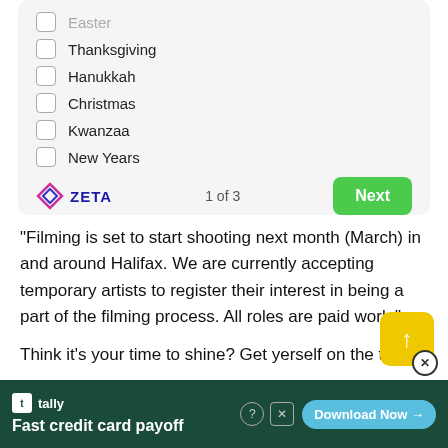Easter (checkbox, partially visible)
Thanksgiving
Hanukkah
Christmas
Kwanzaa
New Years
[Figure (logo): Zeta logo with diamond shape and text ZETA, pagination '1 of 3', and green Next button]
“Filming is set to start shooting next month (March) in and around Halifax. We are currently accepting temporary artists to register their interest in being a part of the filming process. All roles are paid work.”
Think it’s your time to shine? Get yerself on the tele!
[Figure (screenshot): Tally ad banner: Fast credit card payoff, Download Now button]
[Figure (other): Yellow scroll-to-top button with up arrow and close X circle]
[Figure (other): Wavy black decorative divider line at bottom of content area]